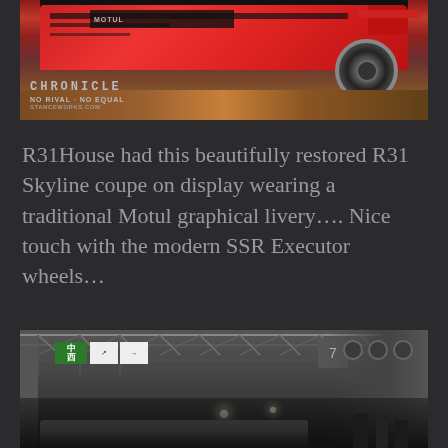[Figure (photo): A red R31 Skyline coupe with Motul racing livery on display, showing the rear/side of the car with SSR Executor wheels, photographed at what appears to be an automotive event. The Chronicle watermark is visible in the lower left corner of the photo.]
R31House had this beautifully restored R31 Skyline coupe on display wearing a traditional Motul graphical livery…. Nice touch with the modern SSR Executor wheels…
[Figure (photo): Interior of a large convention or exhibition hall with truss ceiling structure, directional signs in Chinese/Japanese (including a green sign with Chinese characters 中 and 西), a number 7 hall marker, and people walking on the floor. Several cars are visible in the foreground.]